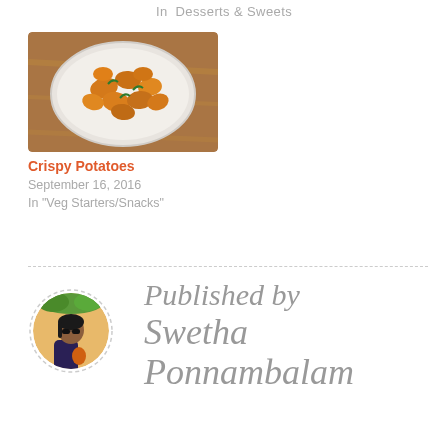In  Desserts & Sweets
[Figure (photo): A white bowl filled with golden crispy fried potato bites garnished with green curry leaves, placed on a wooden surface.]
Crispy Potatoes
September 16, 2016
In "Veg Starters/Snacks"
Published by Swetha Ponnambalam
[Figure (photo): Circular avatar portrait of a woman wearing sunglasses and a dark floral outfit, standing against a yellow/orange wall with greenery, framed by a dashed circle border.]